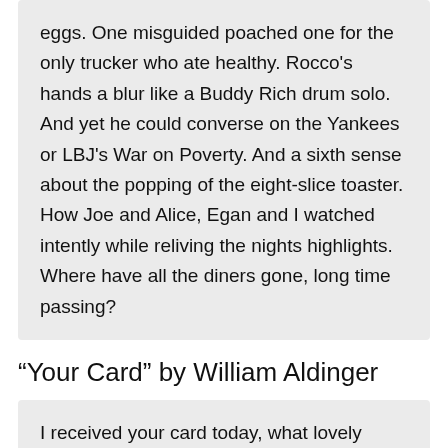eggs. One misguided poached one for the only trucker who ate healthy. Rocco's hands a blur like a Buddy Rich drum solo. And yet he could converse on the Yankees or LBJ's War on Poverty. And a sixth sense about the popping of the eight-slice toaster. How Joe and Alice, Egan and I watched intently while reliving the nights highlights. Where have all the diners gone, long time passing?
“Your Card” by William Aldinger
I received your card today, what lovely things you say
Much to my surprise, your words bring tears to my eyes
I didn’t plan on falling in love, life’s secret from above
You awake feelings inside of me, I thought never to be
How our love has grown, a closer friend I’ve never know
I’m glad you feel this way, happiness is ours each day